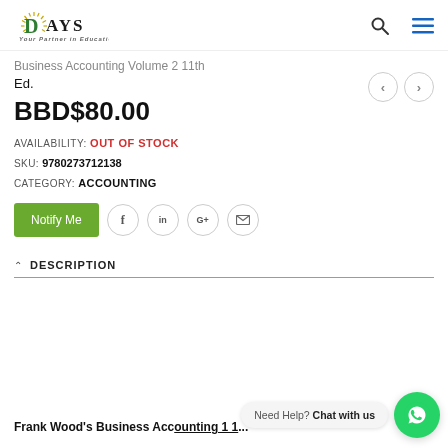Days — Your Partner in Education (logo with search and menu icons)
Business Accounting Volume 2 11th Ed.
BBD$80.00
AVAILABILITY: OUT OF STOCK
SKU: 9780273712138
CATEGORY: ACCOUNTING
Notify Me (button) with social share icons: Facebook, LinkedIn, Google+, Email
DESCRIPTION
Frank Wood's Business Accounting 1 1...